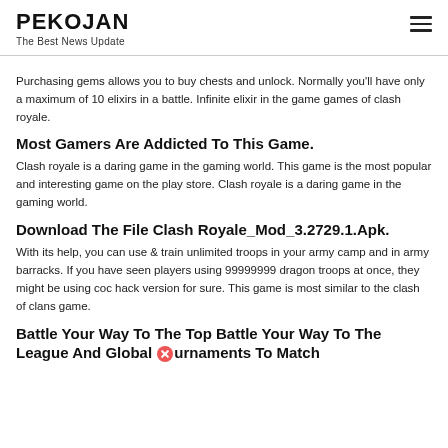PEKOJAN
The Best News Update
Purchasing gems allows you to buy chests and unlock. Normally you'll have only a maximum of 10 elixirs in a battle. Infinite elixir in the game games of clash royale.
Most Gamers Are Addicted To This Game.
Clash royale is a daring game in the gaming world. This game is the most popular and interesting game on the play store. Clash royale is a daring game in the gaming world.
Download The File Clash Royale_Mod_3.2729.1.Apk.
With its help, you can use & train unlimited troops in your army camp and in army barracks. If you have seen players using 99999999 dragon troops at once, they might be using coc hack version for sure. This game is most similar to the clash of clans game.
Battle Your Way To The Top Battle Your Way To The League And Global Tournaments To Match